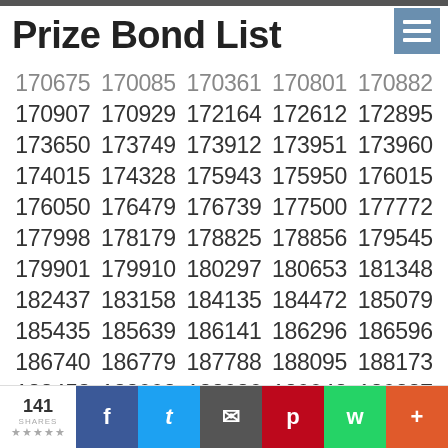Prize Bond List
| 170675 | 170085 | 170361 | 170801 | 170882 |
| 170907 | 170929 | 172164 | 172612 | 172895 |
| 173650 | 173749 | 173912 | 173951 | 173960 |
| 174015 | 174328 | 175943 | 175950 | 176015 |
| 176050 | 176479 | 176739 | 177500 | 177772 |
| 177998 | 178179 | 178825 | 178856 | 179545 |
| 179901 | 179910 | 180297 | 180653 | 181348 |
| 182437 | 183158 | 184135 | 184472 | 185079 |
| 185435 | 185639 | 186141 | 186296 | 186596 |
| 186740 | 186779 | 187788 | 188095 | 188173 |
| 188453 | 188902 | 188986 | 189042 | 189227 |
| 189718 | 191283 | 191606 | 191700 | 191948 |
| 192370 | 192623 | 192844 | 192935 | 192968 |
| 193009 | 193102 | 193124 | 194503 | 195016 |
141 SHARES | Facebook | Twitter | Email | Pinterest | WhatsApp | +